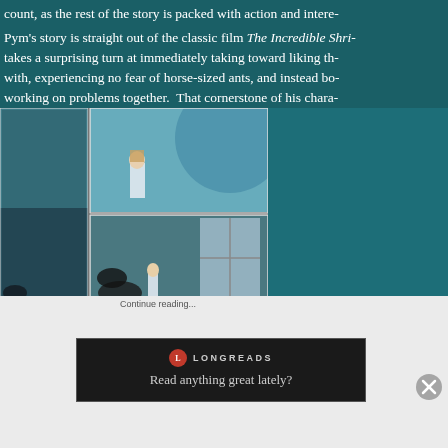count, as the rest of the story is packed with action and intere... Pym's story is straight out of the classic film The Incredible Shri... takes a surprising turn at immediately taking toward liking th... with, experiencing no fear of horse-sized ants, and instead bo... working on problems together. That cornerstone of his chara...
[Figure (illustration): Comic book panels showing characters interacting with large ants in a sci-fi/action setting. Left tall panel shows a figure with large ants. Right column shows three stacked panels: top panel with characters in space/action scene, middle panel with a small figure facing a large ant indoors, bottom panel with a dark-haired woman in close-up.]
Continue reading...
[Figure (logo): Longreads banner with red circular logo and text 'LONGREADS' and tagline 'Read anything great lately?']